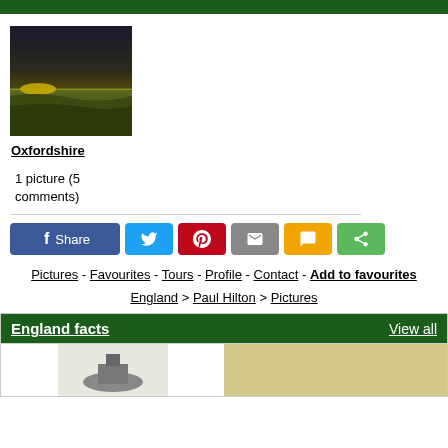[Figure (photo): Landscape photo of Oxfordshire fields at sunset with golden horizon]
Oxfordshire
1 picture (5 comments)
Share buttons: Facebook Share, Twitter, Pinterest, Email, SMS, Share
Pictures - Favourites - Tours - Profile - Contact - Add to favourites
England > Paul Hilton > Pictures
England facts   View all
[Figure (photo): Small image of England landscape in facts section]